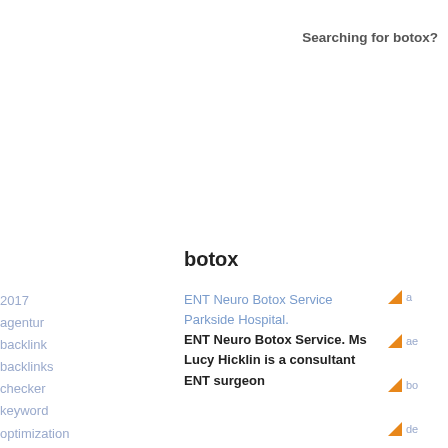Searching for botox?
botox
2017
agentur
backlink
backlinks
checker
keyword
optimization
ranking
seo test
test seo
ENT Neuro Botox Service Parkside Hospital. ENT Neuro Botox Service. Ms Lucy Hicklin is a consultant ENT surgeon
a
ae
bo
de
de
gi